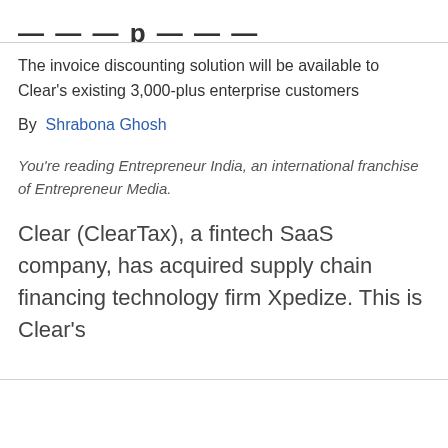— — — — — p — — —
The invoice discounting solution will be available to Clear's existing 3,000-plus enterprise customers
By  Shrabona Ghosh
You're reading Entrepreneur India, an international franchise of Entrepreneur Media.
Clear (ClearTax), a fintech SaaS company, has acquired supply chain financing technology firm Xpedize. This is Clear's